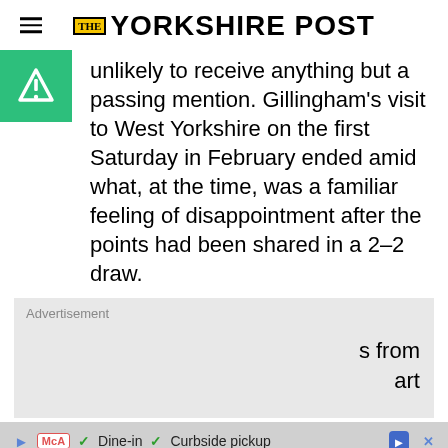THE YORKSHIRE POST
unlikely to receive anything but a passing mention. Gillingham’s visit to West Yorkshire on the first Saturday in February ended amid what, at the time, was a familiar feeling of disappointment after the points had been shared in a 2-2 draw.
Advertisement
s from
art
▶ McA ✓ Dine-in ✓ Curbside pickup → ×
50% off annual subscriptions
Subscribe today